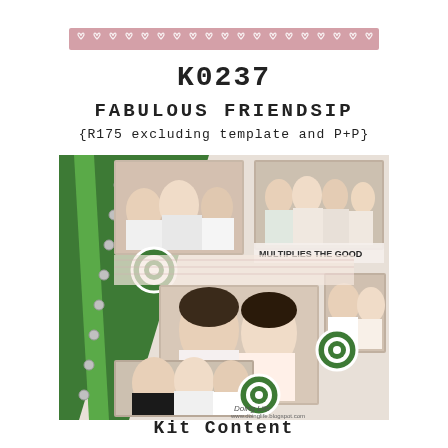[Figure (illustration): Pink tape/ribbon with repeating white heart pattern running horizontally across the top of the page]
K0237
FABULOUS FRIENDSIP
{R175 excluding template and P+P}
[Figure (photo): Scrapbook layout photo collage showing multiple photos of groups of women friends arranged on green and white decorative scrapbook pages with embellishments]
Kit Content